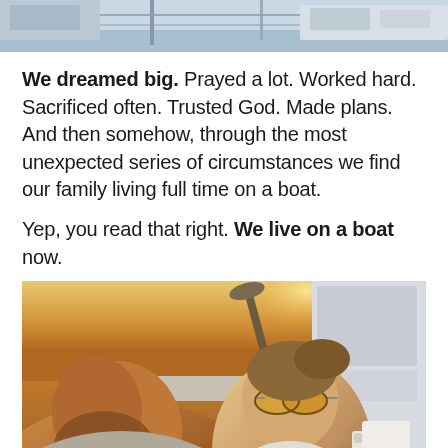[Figure (photo): Top portion of a photo showing a boat and water/marina scene, partially cropped at the top of the page]
We dreamed big. Prayed a lot. Worked hard. Sacrificed often. Trusted God. Made plans. And then somehow, through the most unexpected series of circumstances we find our family living full time on a boat.
Yep, you read that right. We live on a boat now.
[Figure (photo): A couple taking a selfie on a boat at sunset. A bearded man is in the foreground on the left, and a smiling woman wearing mirrored aviator sunglasses is on the right. The water and golden sunset light are visible in the background, along with white boat structures and buckets/equipment.]